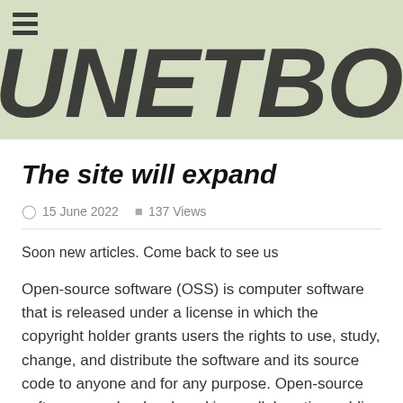UNETBOOTIN.OR
The site will expand
15 June 2022   137 Views
Soon new articles. Come back to see us
Open-source software (OSS) is computer software that is released under a license in which the copyright holder grants users the rights to use, study, change, and distribute the software and its source code to anyone and for any purpose. Open-source software may be developed in a collaborative public manner. Open-source software is a prominent example of open collaboration,